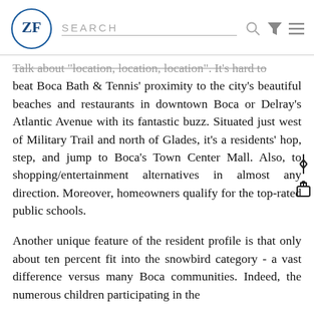ZF logo | SEARCH | icons
Talk about "location, location, location". It's hard to beat Boca Bath & Tennis' proximity to the city's beautiful beaches and restaurants in downtown Boca or Delray's Atlantic Avenue with its fantastic buzz. Situated just west of Military Trail and north of Glades, it's a residents' hop, step, and jump to Boca's Town Center Mall. Also, to shopping/entertainment alternatives in almost any direction. Moreover, homeowners qualify for the top-rated public schools.
Another unique feature of the resident profile is that only about ten percent fit into the snowbird category - a vast difference versus many Boca communities. Indeed, the numerous children participating in the